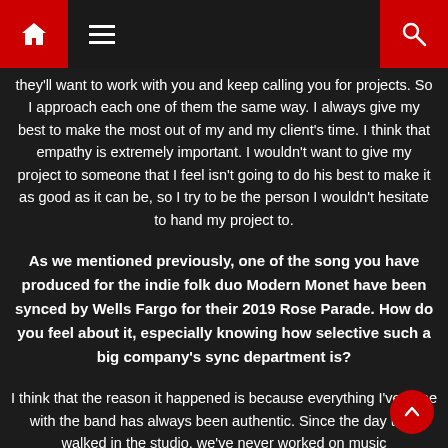Home | Menu | Search
they'll want to work with you and keep calling you for projects. So I approach each one of them the same way. I always give my best to make the most out of my and my client's time. I think that empathy is extremely important. I wouldn't want to give my project to someone that I feel isn't going to do his best to make it as good as it can be, so I try to be the person I wouldn't hesitate to hand my project to.
As we mentioned previously, one of the song you have produced for the indie folk duo Modern Monet have been synced by Wells Fargo for their 2019 Rose Parade. How do you feel about it, especially knowing how selective such a big company's sync department is?
I think that the reason it happened is because everything I've done with the band has always been authentic. Since the day they walked in the studio, we've never worked on music